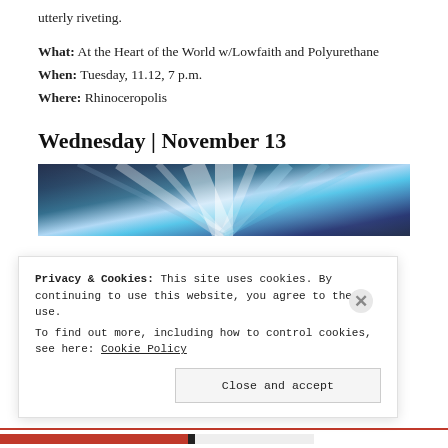utterly riveting.
What: At the Heart of the World w/Lowfaith and Polyurethane
When: Tuesday, 11.12, 7 p.m.
Where: Rhinoceropolis
Wednesday | November 13
[Figure (photo): A blurred motion photo with bright streaks of light in blue and white tones, suggesting movement or speed.]
Privacy & Cookies: This site uses cookies. By continuing to use this website, you agree to their use. To find out more, including how to control cookies, see here: Cookie Policy
Close and accept